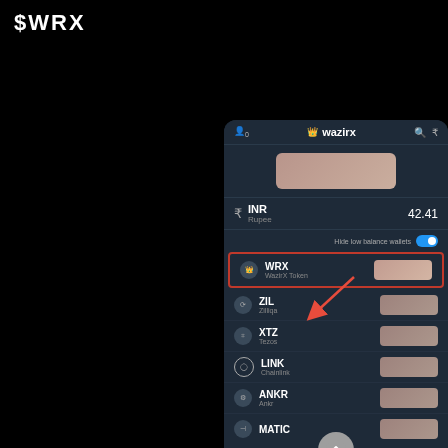$WRX
[Figure (screenshot): WazirX mobile app screenshot showing wallet balances for INR, WRX (WazirX Token, highlighted with red border and arrow), ZIL (Zilliqa), XTZ (Tezos), LINK (Chainlink), ANKR, and MATIC. Top bar shows WazirX logo and icons. INR balance shows 42.41. Toggle for 'Hide low balance wallets' is enabled. Bottom navigation bar visible.]